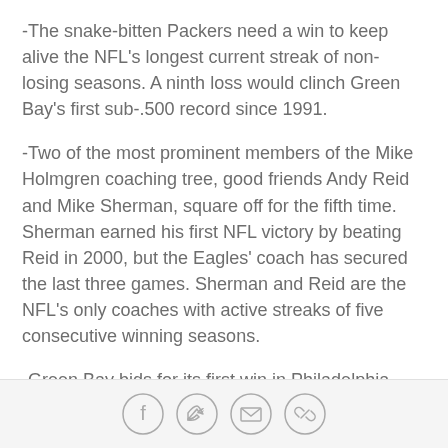-The snake-bitten Packers need a win to keep alive the NFL's longest current streak of non-losing seasons. A ninth loss would clinch Green Bay's first sub-.500 record since 1991.
-Two of the most prominent members of the Mike Holmgren coaching tree, good friends Andy Reid and Mike Sherman, square off for the fifth time. Sherman earned his first NFL victory by beating Reid in 2000, but the Eagles' coach has secured the last three games. Sherman and Reid are the NFL's only coaches with active streaks of five consecutive winning seasons.
-Green Bay bids for its first win in Philadelphia since Nov. 11, 1962. Including the 2003 playoffs, the Packers have lost seven straight in the City of Brotherly
[Figure (other): Social sharing icon bar with Facebook, Twitter, email, and link icons]